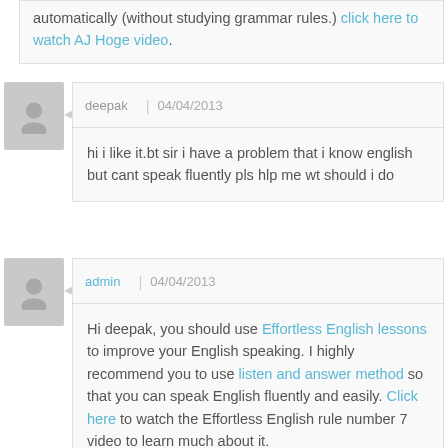automatically (without studying grammar rules.) click here to watch AJ Hoge video.
deepak | 04/04/2013
hi i like it.bt sir i have a problem that i know english but cant speak fluently pls hlp me wt should i do
admin | 04/04/2013
Hi deepak, you should use Effortless English lessons to improve your English speaking. I highly recommend you to use listen and answer method so that you can speak English fluently and easily. Click here to watch the Effortless English rule number 7 video to learn much about it.